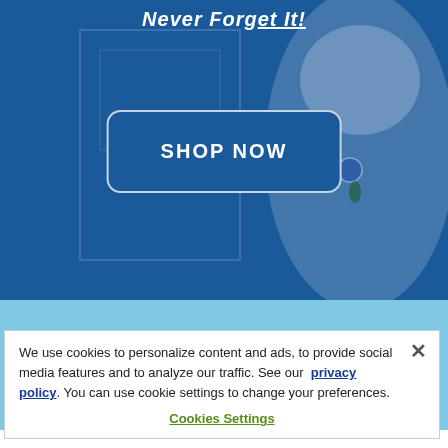[Figure (screenshot): Hero banner with dark blue background showing a white fluffy dog on the right side and a 'SHOP NOW' button in the center. Partial title text 'Never Forget It!' visible at top.]
We use cookies to personalize content and ads, to provide social media features and to analyze our traffic. See our privacy policy. You can use cookie settings to change your preferences.
Cookies Settings